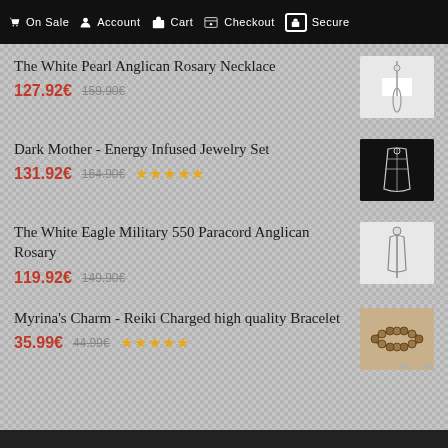On Sale  Account  Cart  Checkout  Secure
The White Pearl Anglican Rosary Necklace
127.92€  159.90€
[Figure (photo): Product image of White Pearl Anglican Rosary Necklace on white background]
Dark Mother - Energy Infused Jewelry Set
131.92€  164.90€  ★★★★★
[Figure (photo): Product image of Dark Mother Energy Infused Jewelry Set on dark background]
The White Eagle Military 550 Paracord Anglican Rosary
119.92€  149.90€
[Figure (photo): Product image of White Eagle Military 550 Paracord Anglican Rosary on white background]
Myrina's Charm - Reiki Charged high quality Bracelet
35.99€  44.99€  ★★★★★
[Figure (photo): Product image of Myrina's Charm Reiki Charged Bracelet - brown bead bracelet]